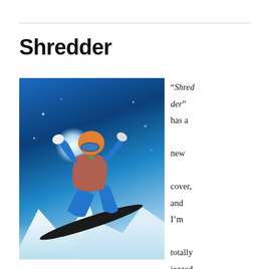Shredder
[Figure (photo): A snowboarder in mid-air trick against a dramatic blue sky and snowy mountain backdrop, wearing orange helmet, teal goggles, pink jacket and blue pants, with a dark snowboard.]
“Shredder” has a new cover, and I’m totally jazzed over it!